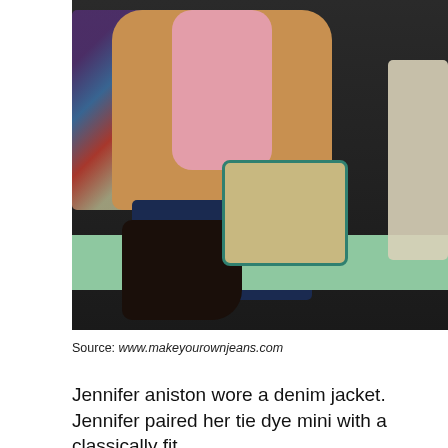[Figure (photo): A woman with blonde hair wearing a tan/brown jacket and pink scarf, sitting on a green ledge outside a flower shop. She is wearing dark jeans and dark lace-up boots, and holding a canvas bag with teal trim.]
Source: www.makeyourownjeans.com
Jennifer aniston wore a denim jacket. Jennifer paired her tie dye mini with a classically fit